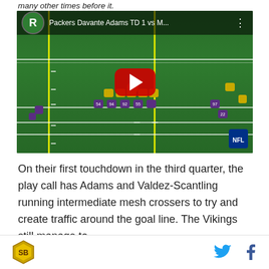many other times before it.
[Figure (screenshot): YouTube video thumbnail showing NFL football game footage. Packers vs Vikings. Title reads 'Packers Davante Adams TD 1 vs M...' Players lined up at the line of scrimmage on a green field. Red YouTube play button in center. NFL logo in bottom right corner.]
On their first touchdown in the third quarter, the play call has Adams and Valdez-Scantling running intermediate mesh crossers to try and create traffic around the goal line. The Vikings still manage to